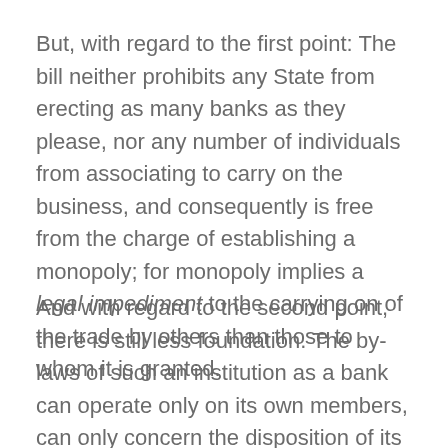But, with regard to the first point: The bill neither prohibits any State from erecting as many banks as they please, nor any number of individuals from associating to carry on the business, and consequently is free from the charge of establishing a monopoly; for monopoly implies a legal impediment to the carrying on of the trade by others than those to whom it is granted.
And with regard to the second point, there is still less foundation. The by-laws of such an institution as a bank can operate only on its own members, can only concern the disposition of its own property, and must